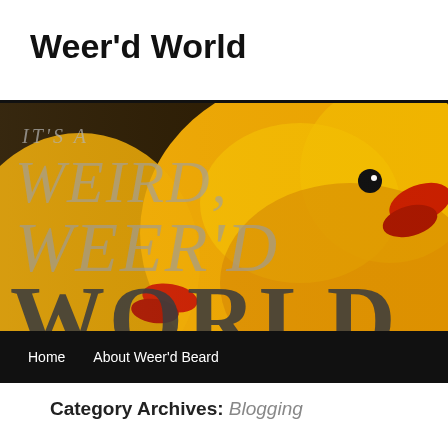Weer'd World
[Figure (illustration): Banner image of rubber ducks (yellow, with red beaks) with text overlay reading 'IT'S A WEIRD, WEER'D WORLD' in large serif italic/bold letters, on a yellow/orange background]
Home    About Weer'd Beard
Category Archives: Blogging